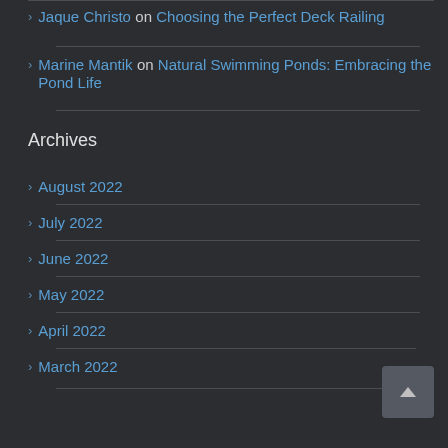Jaque Christo on Choosing the Perfect Deck Railing
Marine Mantik on Natural Swimming Ponds: Embracing the Pond Life
Archives
August 2022
July 2022
June 2022
May 2022
April 2022
March 2022